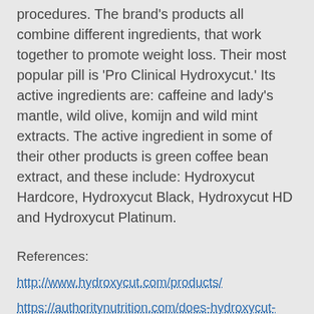procedures. The brand's products all combine different ingredients, that work together to promote weight loss. Their most popular pill is 'Pro Clinical Hydroxycut.' Its active ingredients are: caffeine and lady's mantle, wild olive, komijn and wild mint extracts. The active ingredient in some of their other products is green coffee bean extract, and these include: Hydroxycut Hardcore, Hydroxycut Black, Hydroxycut HD and Hydroxycut Platinum.
References:
http://www.hydroxycut.com/products/
https://authoritynutrition.com/does-hydroxycut-work/